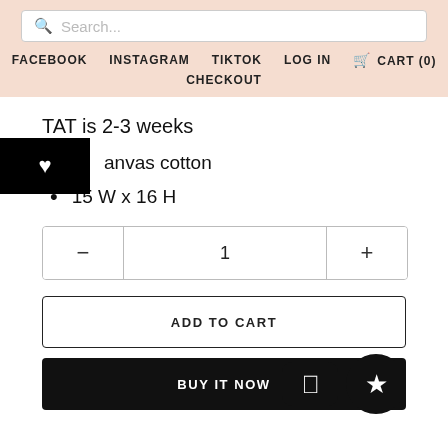Search... | FACEBOOK | INSTAGRAM | TIKTOK | LOG IN | CART (0) | CHECKOUT
TAT is 2-3 weeks
anvas cotton
15 W x 16 H
1 (quantity selector with - and + buttons)
ADD TO CART
BUY IT NOW